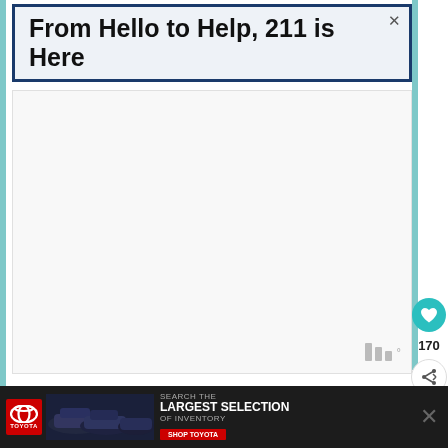[Figure (screenshot): Advertisement banner: 'From Hello to Help, 211 is Here' with dark navy border and light blue background. Has a close (X) button in top right corner.]
[Figure (screenshot): White empty content area (likely a video or image placeholder). Bottom right has a weather/temperature logo icon in gray.]
[Figure (infographic): Right sidebar with a teal circular heart/favorite button showing count 170, and a share button below it.]
Ingredients
Using Rolled Oats
2 cups rolled oats
[Figure (screenshot): What's Next panel: circular food image (Instant Pot Potato Soup), label 'WHAT'S NEXT →', title 'Instant Pot Potato Soup']
[Figure (screenshot): Bottom advertisement bar for Toyota: Toyota logo, cars photo, text 'SEARCH THE LARGEST SELECTION OF INVENTORY SHOP TOYOTA', and a close X button.]